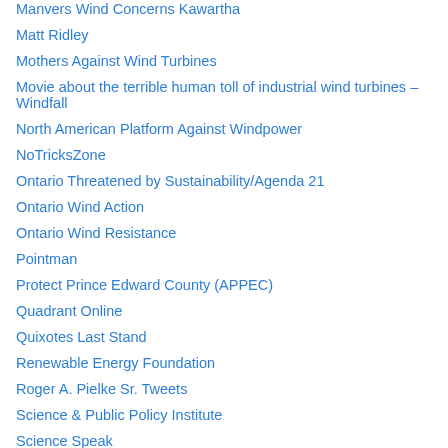Manvers Wind Concerns Kawartha
Matt Ridley
Mothers Against Wind Turbines
Movie about the terrible human toll of industrial wind turbines – Windfall
North American Platform Against Windpower
NoTricksZone
Ontario Threatened by Sustainability/Agenda 21
Ontario Wind Action
Ontario Wind Resistance
Pointman
Protect Prince Edward County (APPEC)
Quadrant Online
Quixotes Last Stand
Renewable Energy Foundation
Roger A. Pielke Sr. Tweets
Science & Public Policy Institute
Science Speak
Stop These Things
Tallbloke's Talkshop
The 50 to 1 Project